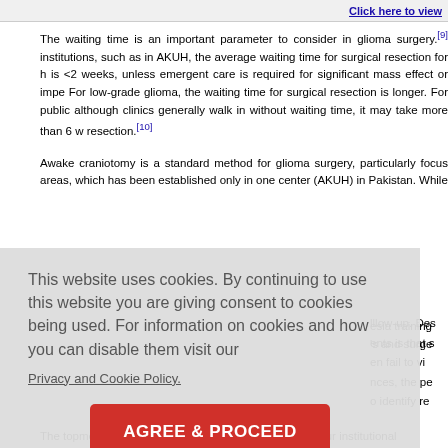[Figure (screenshot): Top bar with 'Click here to view' link button]
The waiting time is an important parameter to consider in glioma surgery.[9] institutions, such as in AKUH, the average waiting time for surgical resection for h is <2 weeks, unless emergent care is required for significant mass effect or impe For low-grade glioma, the waiting time for surgical resection is longer. For public although clinics generally walk in without waiting time, it may take more than 6 w resection.[10]
Awake craniotomy is a standard method for glioma surgery, particularly focus areas, which has been established only in one center (AKUH) in Pakistan. While [esia training 's and surge
[Figure (screenshot): Cookie consent overlay with text: 'This website uses cookies. By continuing to use this website you are giving consent to cookies being used. For information on cookies and how you can disable them visit our Privacy and Cookie Policy.' and an AGREE & PROCEED button.]
The topmost reasons for loss to follow-up according to our institutional